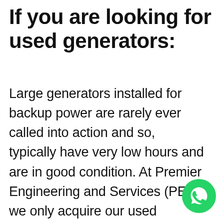If you are looking for used generators:
Large generators installed for backup power are rarely ever called into action and so, typically have very low hours and are in good condition. At Premier Engineering and Services (PES), we only acquire our used generator sets where a full-service history is available and low running hours can be verified. Used and reconditioned generators
[Figure (logo): WhatsApp floating action button - green circle with white WhatsApp phone/chat icon]